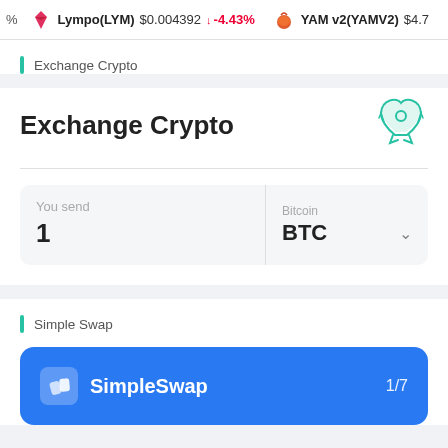% Lympo(LYM) $0.004392 ↓ -4.43% YAM v2(YAMV2) $4.7
Exchange Crypto
Exchange Crypto
You send 1 Bitcoin BTC
Simple Swap
SimpleSwap 1/7